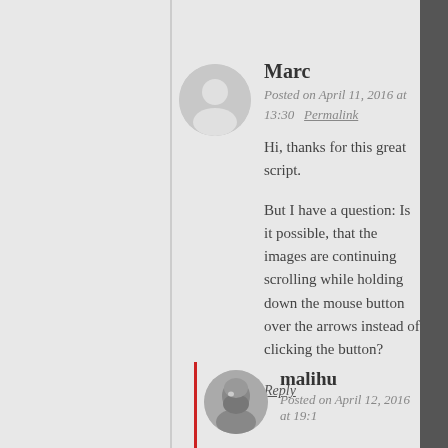Marc
Posted on April 11, 2016 at 13:30   Permalink
Hi, thanks for this great script.
But I have a question: Is it possible, that the images are continuing scrolling while holding down the mouse button over the arrows instead of clicking the button?
Reply
malihu
Posted on April 12, 2016 at 19:1